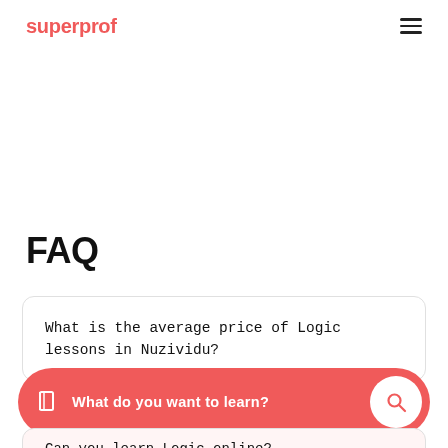superprof
FAQ
What is the average price of Logic lessons in Nuzividu?
What do you want to learn?
Can you learn Logic online?